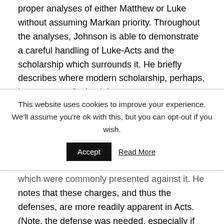proper analyses of either Matthew or Luke without assuming Markan priority. Throughout the analyses, Johnson is able to demonstrate a careful handling of Luke-Acts and the scholarship which surrounds it. He briefly describes where modern scholarship, perhaps, has gone too far in pitting
This website uses cookies to improve your experience. We'll assume you're ok with this, but you can opt-out if you wish. [Accept] [Read More]
which were commonly presented against it. He notes that these charges, and thus the defenses, are more readily apparent in Acts. (Note, the defense was needed, especially if Johnson was correct, and that one of the charges were that the Jewish movement around Jesus had reached the Gentiles.) He ends the first chapter with the issue